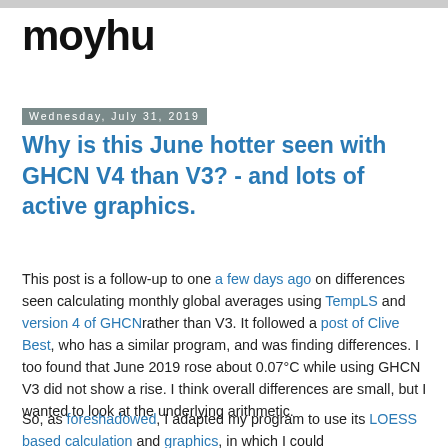moyhu
Wednesday, July 31, 2019
Why is this June hotter seen with GHCN V4 than V3? - and lots of active graphics.
This post is a follow-up to one a few days ago on differences seen calculating monthly global averages using TempLS and version 4 of GHCN rather than V3. It followed a post of Clive Best, who has a similar program, and was finding differences. I too found that June 2019 rose about 0.07°C while using GHCN V3 did not show a rise. I think overall differences are small, but I wanted to look at the underlying arithmetic.
So, as foreshadowed, I adapted my program to use its LOESS based calculation and graphics, in which I could